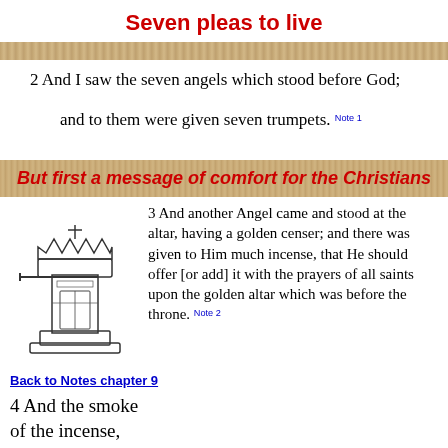Seven pleas to live
2 And I saw the seven angels which stood before God; and to them were given seven trumpets. Note 1
But first a message of comfort for the Christians
[Figure (illustration): Black and white illustration of a golden altar with a censer]
3 And another Angel came and stood at the altar, having a golden censer; and there was given to Him much incense, that He should offer [or add] it with the prayers of all saints upon the golden altar which was before the throne. Note 2
Back to Notes chapter 9
4 And the smoke of the incense, which came with